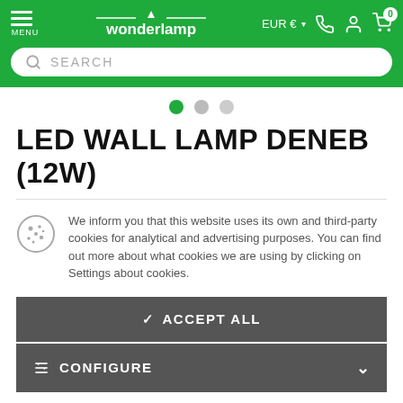[Figure (screenshot): Wonderlamp website header with green background, hamburger menu on left, Wonderlamp logo in center, EUR currency selector, phone, user, and cart icons on right, and a search bar below.]
[Figure (other): Three pagination dots: first green (active), second and third grey]
LED WALL LAMP DENEB (12W)
We inform you that this website uses its own and third-party cookies for analytical and advertising purposes. You can find out more about what cookies we are using by clicking on Settings about cookies.
✓ ACCEPT ALL
≡ CONFIGURE